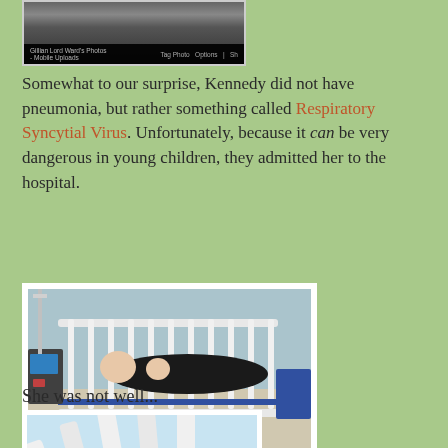[Figure (photo): Partial photo showing Facebook photo interface with 'Gillian Lord Ward's Photos - Mobile Uploads' label and 'Tag Photo', 'Options', 'Sha...' buttons]
Somewhat to our surprise, Kennedy did not have pneumonia, but rather something called Respiratory Syncytial Virus. Unfortunately, because it can be very dangerous in young children, they admitted her to the hospital.
[Figure (photo): Hospital crib scene showing a woman lying in a hospital crib with a small child, surrounded by medical equipment]
She was not well...
[Figure (photo): Close-up photo of hospital crib rails/bars with blue ceiling visible]